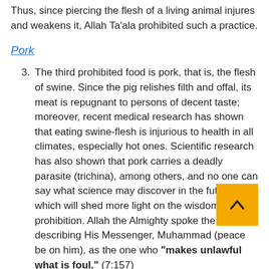Thus, since piercing the flesh of a living animal injures and weakens it, Allah Ta'ala prohibited such a practice.
Pork
The third prohibited food is pork, that is, the flesh of swine. Since the pig relishes filth and offal, its meat is repugnant to persons of decent taste; moreover, recent medical research has shown that eating swine-flesh is injurious to health in all climates, especially hot ones. Scientific research has also shown that pork carries a deadly parasite (trichina), among others, and no one can say what science may discover in the future which will shed more light on the wisdom of this prohibition. Allah the Almighty spoke the truth in describing His Messenger, Muhammad (peace be on him), as the one who "makes unlawful what is foul." (7:157)
In addition to this, there are also some scholars who